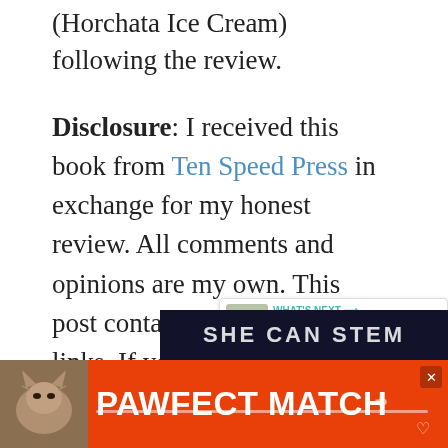(Horchata Ice Cream) following the review.
Disclosure: I received this book from Ten Speed Press in exchange for my honest review. All comments and opinions are my own. This post contains Amazon affiliate links. If you purchase something through the link, I may receive a small commission at no extra charge to you.
[Figure (screenshot): Social sharing widget showing heart/like button with teal background and 1K count, and a share button below]
[Figure (screenshot): What's Next panel showing thumbnail of Panna Cotta alla Menta c...]
[Figure (screenshot): Dark banner with text SHE CAN STEM]
[Figure (screenshot): Advertisement bar with orange background reading PAWFECT MATCH with a cat photo on the left]